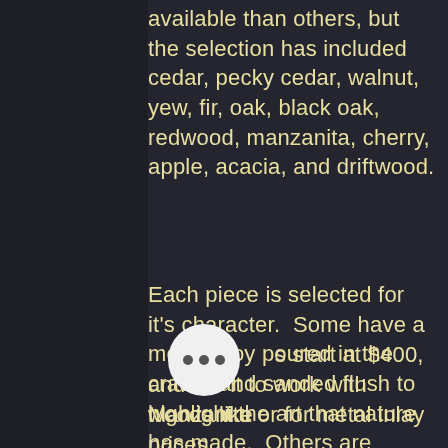available than others, but the selection has included cedar, pecky cedar, walnut, yew, fir, oak, black oak, redwood, manzanita, cherry, apple, acacia, and driftwood.
Each piece is selected for it's character.  Some have a metal alloy poured in the cracks and sanded flush to highlight the art that nature has made.  Others are simply sanded and coated with natural linseed oil or Rubio Monocoat to highlight the color and beauty of the grain.
Prices start at $400, and for difficult to work with woods like Manzanita or for metal inlay prices